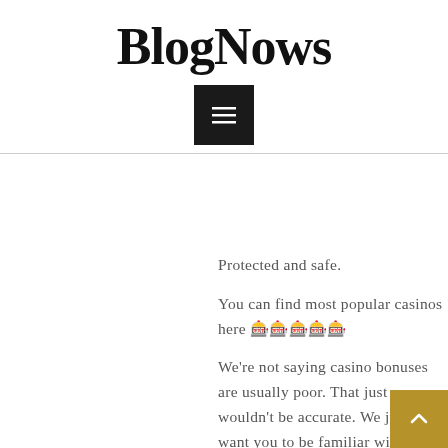BlogNows
[Figure (other): Hamburger menu button (dark square with three horizontal white lines)]
Protected and safe.
You can find most popular casinos here 🎰🎰🎰🎰🎰
We're not saying casino bonuses are usually poor. That just wouldn't be accurate. We just want you to be familiar with all disorders which might be in spot for each certain bonus ahead of choosing no matter whether having it a good selection for you personally or not.
Playing casino Dwell at Loyal Casino ensures you
[Figure (other): Scroll to top button (gold/tan square with upward chevron arrow)]